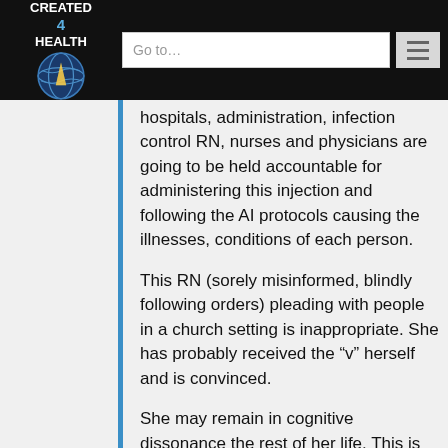CREATED 4 HEALTH — Go to... navigation header
hospitals, administration, infection control RN, nurses and physicians are going to be held accountable for administering this injection and following the AI protocols causing the illnesses, conditions of each person.
This RN (sorely misinformed, blindly following orders) pleading with people in a church setting is inappropriate. She has probably received the “v” herself and is convinced.
She may remain in cognitive dissonance the rest of her life. This is very sad for her but it is much sadder that she spoke to a group of people giving the impression she’s knowledgeable when she is not.